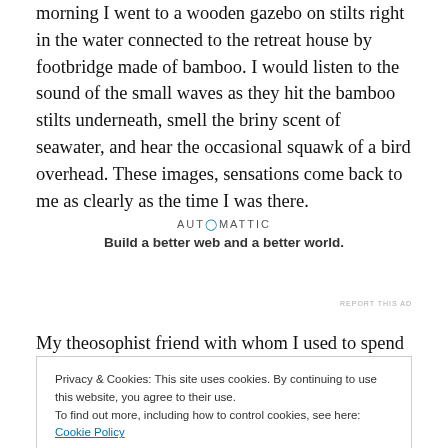morning I went to a wooden gazebo on stilts right in the water connected to the retreat house by footbridge made of bamboo. I would listen to the sound of the small waves as they hit the bamboo stilts underneath, smell the briny scent of seawater, and hear the occasional squawk of a bird overhead. These images, sensations come back to me as clearly as the time I was there.
[Figure (other): Automattic advertisement: logo text 'AUT0MATTIC' with tagline 'Build a better web and a better world.']
REPORT THIS AD
My theosophist friend with whom I used to spend a lot of
Privacy & Cookies: This site uses cookies. By continuing to use this website, you agree to their use. To find out more, including how to control cookies, see here: Cookie Policy
mind perhaps wandered to somewhere else, and so our